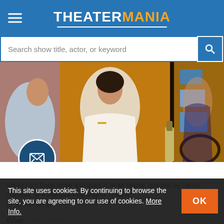TheaterMania
[Figure (photo): Arturo Luis Soria on stage in a scene from Ni Mi Madre at Rattlestick Playwrights Theater, with actors near a mirror against an orange/yellow wall with framed pictures]
Arturo Luís Soria wrote and stars in Ni Mi Madre, directed by Danilo Gambini, at Rattlestick Playwrights Theater.
(© Andrew Soria)
When our mother is first subject for drag I will readily admit to
This site uses cookies. By continuing to browse the site, you are agreeing to our use of cookies. More Info.